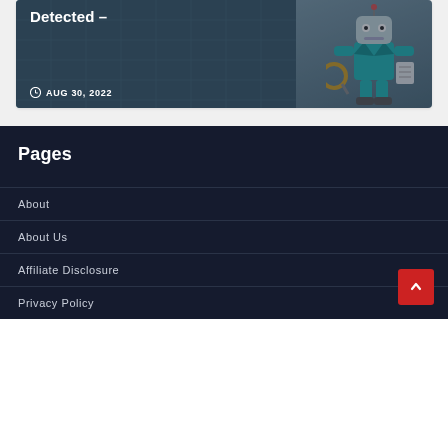[Figure (illustration): A robot character holding a magnifying glass and a document, set against a teal grid background. Overlaid with text 'Detected –' and date 'AUG 30, 2022'.]
Pages
About
About Us
Affiliate Disclosure
Privacy Policy